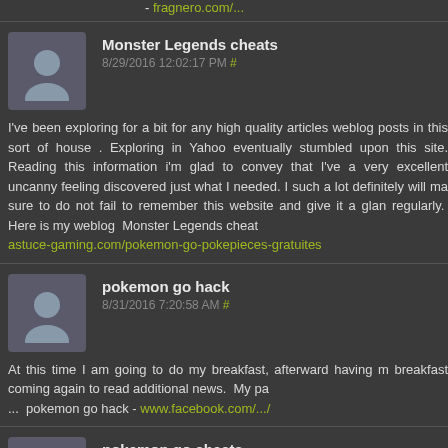fragnero.com/...
Monster Legends cheats
8/29/2016 12:02:17 PM #
I've been exploring for a bit for any high quality articles weblog posts in this sort of house . Exploring in Yahoo eventually stumbled upon this site. Reading this information i'm glad to convey that I've a very excellent uncanny feeling discovered just what I needed. I such a lot definitely will make sure to do not fail to remember this website and give it a glance regularly. Here is my weblog Monster Legends cheats astuce-gaming.com/pokemon-go-pokepieces-gratuites
pokemon go hack
8/31/2016 7:20:58 AM #
At this time I am going to do my breakfast, afterward having my breakfast coming again to read additional news. My pa ... pokemon go hack - www.facebook.com/.../
pokemon go cheats
8/31/2016 11:28:35 AM #